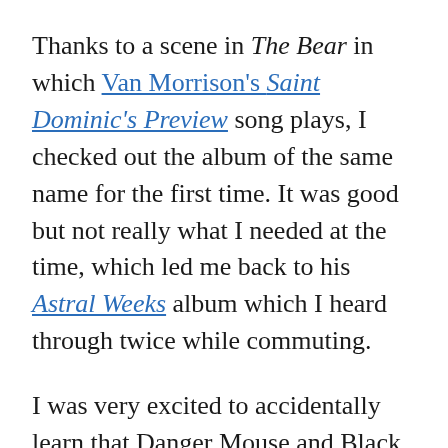Thanks to a scene in The Bear in which Van Morrison's Saint Dominic's Preview song plays, I checked out the album of the same name for the first time. It was good but not really what I needed at the time, which led me back to his Astral Weeks album which I heard through twice while commuting.
I was very excited to accidentally learn that Danger Mouse and Black Thought just released an album together: Cheat Codes. According to YouTube, a couple of songs came out awhile ago, but I had no idea. Despite many discovery features in Spotify and Apple Music, there's a